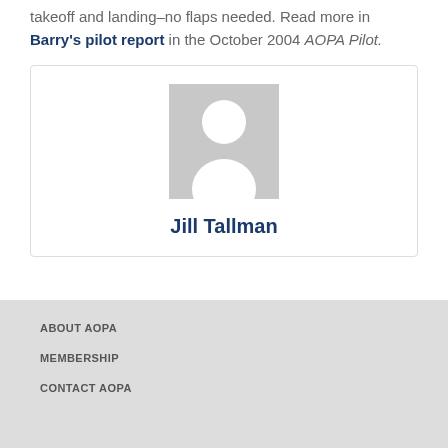takeoff and landing–no flaps needed. Read more in Barry's pilot report in the October 2004 AOPA Pilot.
[Figure (illustration): Author profile card with placeholder avatar (gray silhouette icon) and name 'Jill Tallman' in dark blue bold text, inside a bordered box.]
ABOUT AOPA
MEMBERSHIP
CONTACT AOPA